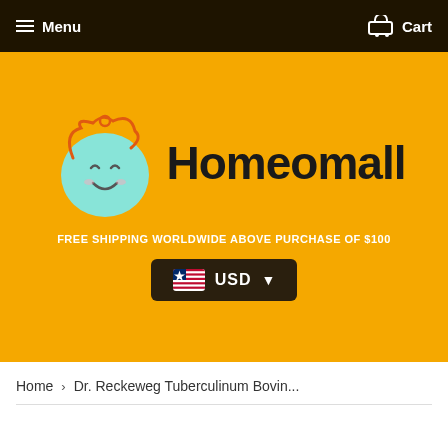Menu | Cart
[Figure (logo): Homeomall logo: a teal cartoon face with curly hair above, smiling expression, with the text 'Homeomall' in bold black letters]
FREE SHIPPING WORLDWIDE ABOVE PURCHASE OF $100
USD
Home › Dr. Reckeweg Tuberculinum Bovin...